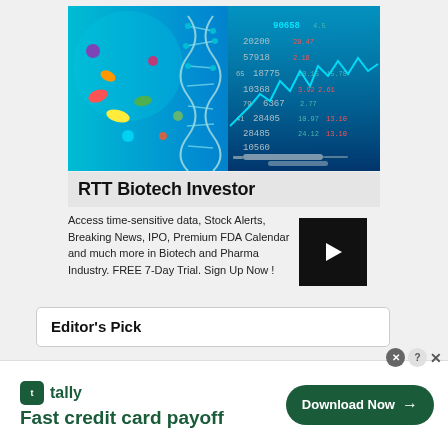[Figure (photo): Composite image showing biotech/pharmaceutical DNA helix and colorful pills on left, and a stock market digital display board with numbers and a blue line chart on the right, along with syringes in the lower portion.]
RTT Biotech Investor
Access time-sensitive data, Stock Alerts, Breaking News, IPO, Premium FDA Calendar and much more in Biotech and Pharma Industry. FREE 7-Day Trial. Sign Up Now !
Editor's Pick
[Figure (infographic): Tally app advertisement banner: Tally logo with green icon, text 'Fast credit card payoff', and a green 'Download Now' button with right arrow. Question and close (X) buttons in upper right corner.]